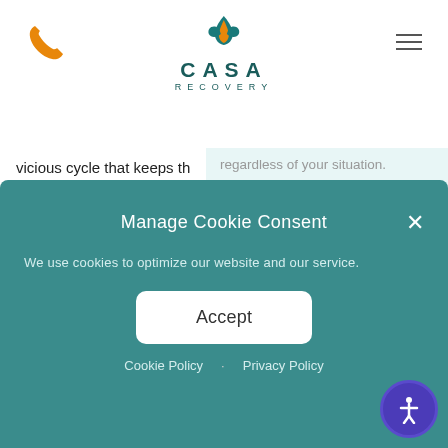[Figure (logo): CASA Recovery logo with teal lotus/flame icon, teal text CASA in large letters and RECOVERY below]
vicious cycle that keeps th... years unless they get the t... therapies such as CBT ha... beneficial in identifying th... disorder.
regardless of your situation. To get you personalized recommendations I need to know a little more info. Are you a new or existing patient?
Manage Cookie Consent
We use cookies to optimize our website and our service.
Accept
Cookie Policy · Privacy Policy